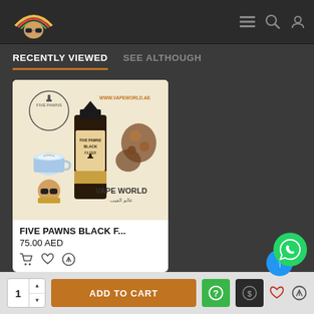[Figure (logo): Website logo with sunglasses character and rainbow arc]
RECENTLY VIEWED
SEE ALTHOUGH
[Figure (photo): Five Pawns Black F... vape juice bottle product image with coffee, tobacco, and nut imagery, VAPE WORLD branding]
FIVE PAWNS BLACK F...
75.00 AED
ADD TO CART
1